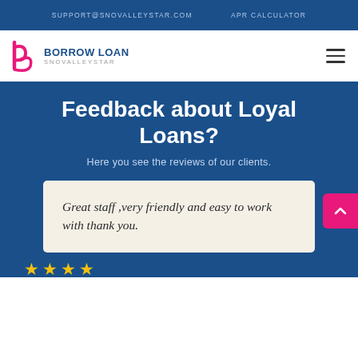SUPPORT@SNOVALLEYSTAR.COM   APR CALCULATOR
[Figure (logo): Borrow Loan Snovalleystar logo with stylized 'b' icon in pink/magenta and blue text reading 'BORROW LOAN' above 'SNOVALLEYSTAR']
Feedback about Loyal Loans?
Here you see the reviews of our clients.
Great staff ,very friendly and easy to work with thank you.
[Figure (illustration): Four gold/yellow star rating icons at the bottom of the page]